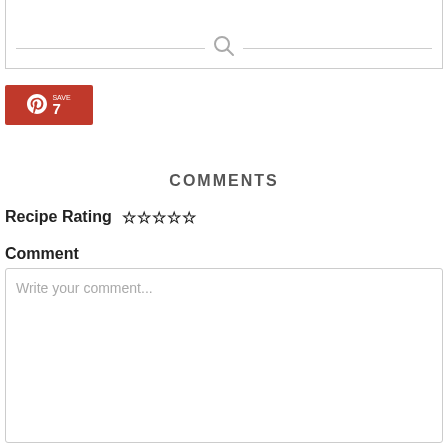...moving them to a cooling rack. Enjoy!
[Figure (other): Search icon divider with horizontal lines]
[Figure (logo): Pinterest share button with P logo and number 7]
COMMENTS
Recipe Rating ☆☆☆☆☆
Comment
Write your comment...